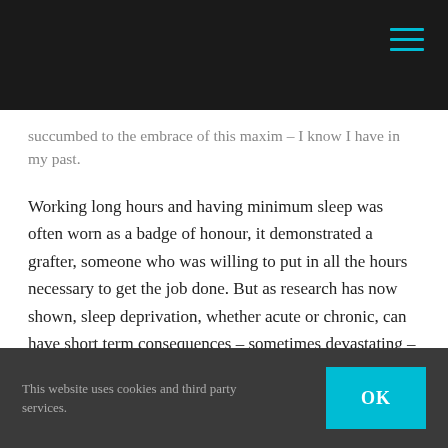[Navigation bar with hamburger menu icon]
succumbed to the embrace of this maxim – I know I have in my past.
Working long hours and having minimum sleep was often worn as a badge of honour, it demonstrated a grafter, someone who was willing to put in all the hours necessary to get the job done. But as research has now shown, sleep deprivation, whether acute or chronic, can have short term consequences – sometimes devastating – as well as long term physiological and/or mental health effects.
This website uses cookies and third party services.